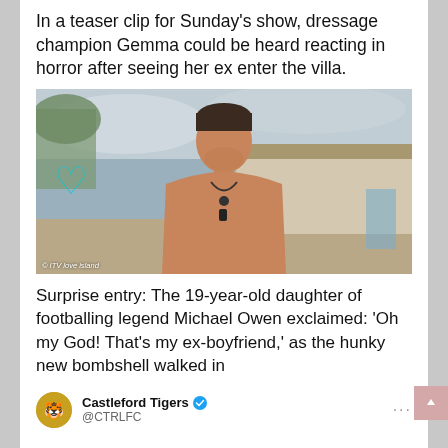In a teaser clip for Sunday's show, dressage champion Gemma could be heard reacting in horror after seeing her ex enter the villa.
[Figure (photo): Shirtless young man with dark hair standing outdoors near villa buildings with blurred background. ITV Love Island watermark visible at bottom left.]
© ITV love island
Surprise entry: The 19-year-old daughter of footballing legend Michael Owen exclaimed: 'Oh my God! That's my ex-boyfriend,' as the hunky new bombshell walked in
Castleford Tigers @CTRLFC